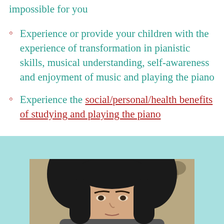impossible for you
Experience or provide your children with the experience of transformation in pianistic skills, musical understanding, self-awareness and enjoyment of music and playing the piano
Experience the social/personal/health benefits of studying and playing the piano
[Figure (photo): Portrait photo of a woman with dark hair, cropped at chin level, shown from the shoulders up against a floral background, placed within a teal/light blue section]